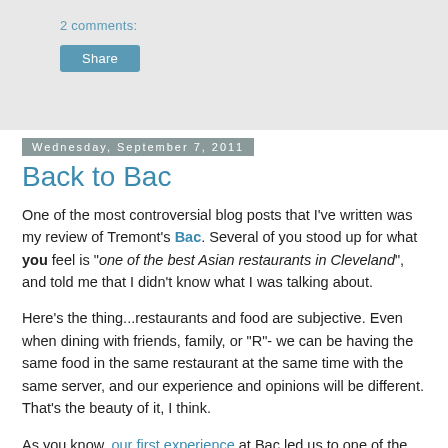2 comments:
Share
Wednesday, September 7, 2011
Back to Bac
One of the most controversial blog posts that I've written was my review of Tremont's Bac. Several of you stood up for what you feel is "one of the best Asian restaurants in Cleveland", and told me that I didn't know what I was talking about.
Here's the thing...restaurants and food are subjective. Even when dining with friends, family, or "R"- we can be having the same food in the same restaurant at the same time with the same server, and our experience and opinions will be different. That's the beauty of it, I think.
As you know, our first experience at Bac led us to one of the